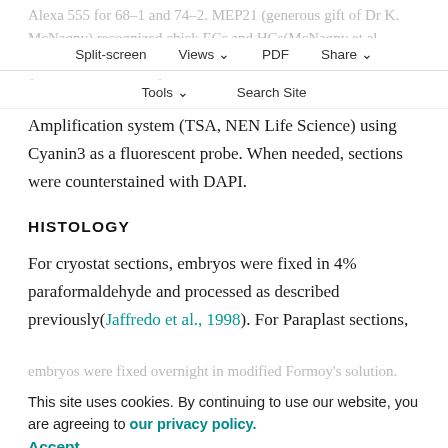Alexa 555 for 68-1 and 74-2. MEP21 (generous gift of Dr K. McNagny) recognized chick ECs and HCs(McNagny et al., 1997). MEP21 was revealed with a biotinylated GAM IgG1 followed by an amplification using the Tyramide Signal
Split-screen | Views | PDF | Share | Tools | Search Site
Amplification system (TSA, NEN Life Science) using Cyanin3 as a fluorescent probe. When needed, sections were counterstained with DAPI.
HISTOLOGY
For cryostat sections, embryos were fixed in 4% paraformaldehyde and processed as described previously(Jaffredo et al., 1998). For Paraplast sections, embryos were fixed overnight in modified Formoy's solution. They were embedded in Duplan Rignal and transversally sectioned at 5-7 µm. After rehydration, sections were submitted to PBS/H2O2 3% to remove
This site uses cookies. By continuing to use our website, you are agreeing to our privacy policy. Accept